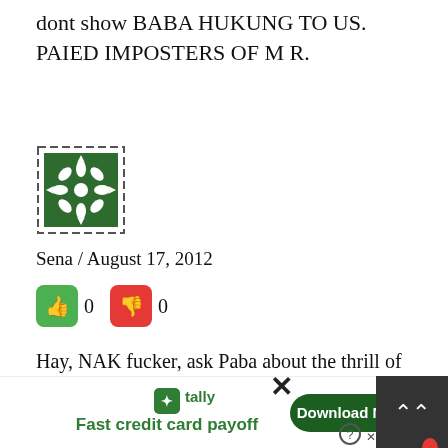dont show BABA HUKUNG TO US. PAIED IMPOSTERS OF M R.
[Figure (logo): Green decorative snowflake/flower pattern avatar icon with dashed border]
Sena / August 17, 2012
thumbs up 0  thumbs down 0
Hay, NAK fucker, ask Paba about the thrill of b(p)aba huking because MARA and NARA did that thing with Paba Huking! Stupid pimp who supply prostitutes to MARA!!!
[Figure (screenshot): Tally app advertisement bar at bottom: Fast credit card payoff with Download Now button, close X, scroll up button, help circle icon]